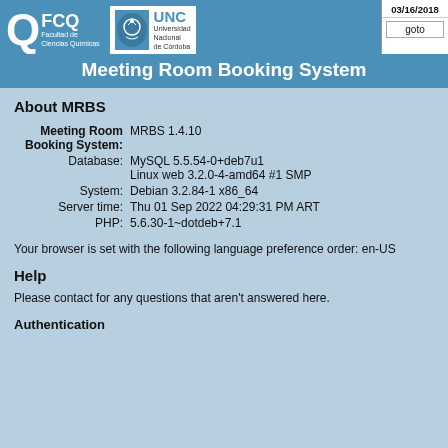FCQ Facultad de Ciencias Químicas | UNC Universidad Nacional de Córdoba | 03/16/2018 | goto | Meeting Room Booking System
About MRBS
| Label | Value |
| --- | --- |
| Meeting Room Booking System: | MRBS 1.4.10 |
| Database: | MySQL 5.5.54-0+deb7u1 |
|  | Linux web 3.2.0-4-amd64 #1 SMP |
| System: | Debian 3.2.84-1 x86_64 |
| Server time: | Thu 01 Sep 2022 04:29:31 PM ART |
| PHP: | 5.6.30-1~dotdeb+7.1 |
Your browser is set with the following language preference order: en-US
Help
Please contact for any questions that aren't answered here.
Authentication